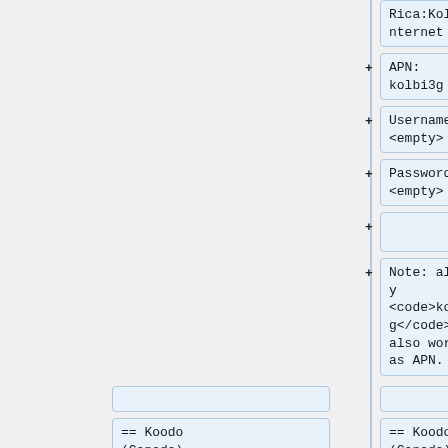Rica:Kolbi:Internet
APN: kolbi3g
Username: <empty>
Password: <empty>
Note: alternatively <code>kolbi4g</code> also works as APN.
== Koodo (Canada) ==
== Koodo (Canada) ==